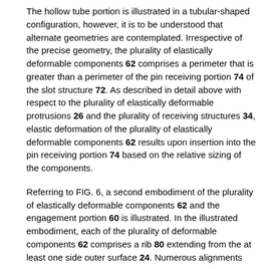The hollow tube portion is illustrated in a tubular-shaped configuration, however, it is to be understood that alternate geometries are contemplated. Irrespective of the precise geometry, the plurality of elastically deformable components 62 comprises a perimeter that is greater than a perimeter of the pin receiving portion 74 of the slot structure 72. As described in detail above with respect to the plurality of elastically deformable protrusions 26 and the plurality of receiving structures 34, elastic deformation of the plurality of elastically deformable components 62 results upon insertion into the pin receiving portion 74 based on the relative sizing of the components.
Referring to FIG. 6, a second embodiment of the plurality of elastically deformable components 62 and the engagement portion 60 is illustrated. In the illustrated embodiment, each of the plurality of deformable components 62 comprises a rib 80 extending from the at least one side outer surface 24. Numerous alignments are contemplated, but in the exemplary embodiment, the rib 80 comprises an arcuate-shaped configuration that arches or bows away from the at least one side outer surface 24 and is configured to elastically deform and/or deflect upon